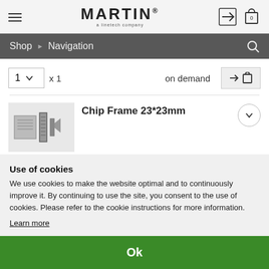MARTIN® a linetech company
Shop ▶ Navigation
1 ∨ x 1 on demand
[Figure (photo): Product photo of Chip Frame 23*23mm showing chip frame components]
Chip Frame 23*23mm
Use of cookies
We use cookies to make the website optimal and to continuously improve it. By continuing to use the site, you consent to the use of cookies. Please refer to the cookie instructions for more information.
Learn more
Ok